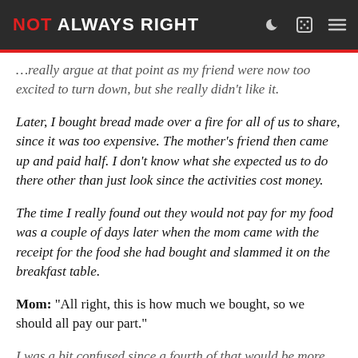NOT ALWAYS RIGHT
really argue at that point as my friend were now too excited to turn down, but she really didn't like it.
Later, I bought bread made over a fire for all of us to share, since it was too expensive. The mother's friend then came up and paid half. I don't know what she expected us to do there other than just look since the activities cost money.
The time I really found out they would not pay for my food was a couple of days later when the mom came with the receipt for the food she had bought and slammed it on the breakfast table.
Mom: “All right, this is how much we bought, so we should all pay our part.”
I was a bit confused since a fourth of that would be more